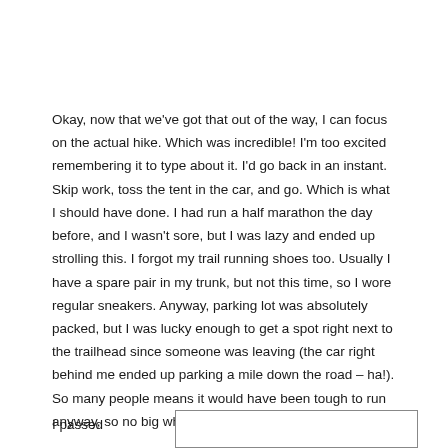Okay, now that we've got that out of the way, I can focus on the actual hike. Which was incredible! I'm too excited remembering it to type about it. I'd go back in an instant. Skip work, toss the tent in the car, and go. Which is what I should have done. I had run a half marathon the day before, and I wasn't sore, but I was lazy and ended up strolling this. I forgot my trail running shoes too. Usually I have a spare pair in my trunk, but not this time, so I wore regular sneakers. Anyway, parking lot was absolutely packed, but I was lucky enough to get a spot right next to the trailhead since someone was leaving (the car right behind me ended up parking a mile down the road – ha!). So many people means it would have been tough to run anyway, so no big whoop.
I passed